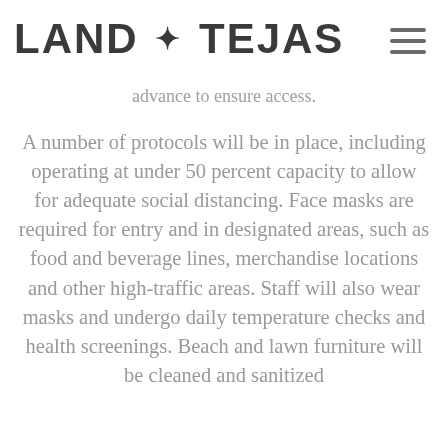LAND TEJAS
advance to ensure access.
A number of protocols will be in place, including operating at under 50 percent capacity to allow for adequate social distancing. Face masks are required for entry and in designated areas, such as food and beverage lines, merchandise locations and other high-traffic areas. Staff will also wear masks and undergo daily temperature checks and health screenings. Beach and lawn furniture will be cleaned and sanitized